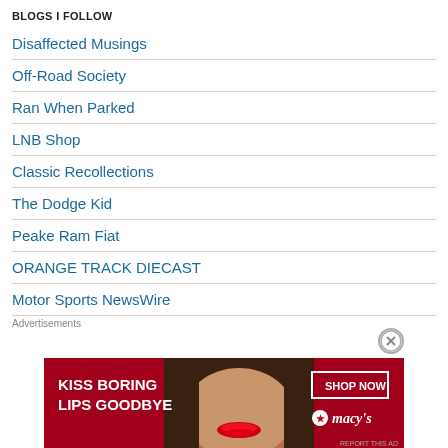BLOGS I FOLLOW
Disaffected Musings
Off-Road Society
Ran When Parked
LNB Shop
Classic Recollections
The Dodge Kid
Peake Ram Fiat
ORANGE TRACK DIECAST
Motor Sports NewsWire
Advertisements
[Figure (other): Macy's advertisement banner: KISS BORING LIPS GOODBYE with SHOP NOW button and Macy's star logo, featuring a woman's face with red lipstick]